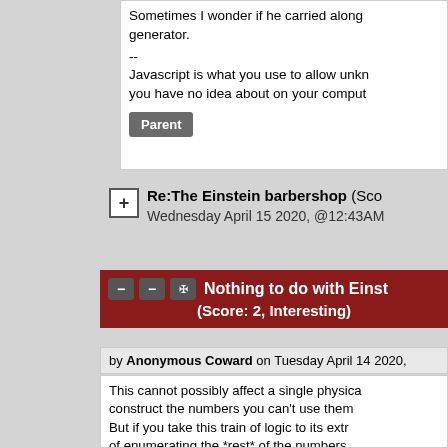Sometimes I wonder if he carried along generator.
--
Javascript is what you use to allow unkn... you have no idea about on your comput...
Parent
Re:The Einstein barbershop (Sco... Wednesday April 15 2020, @12:43AM
Nothing to do with Einst... (Score: 2, Interesting)
by Anonymous Coward on Tuesday April 14 2020,
This cannot possibly affect a single physica... construct the numbers you can't use them... But if you take this train of logic to its extr... of enumerating the *rest* of the numbers ... that rules out some computable numbers ... action — by enumerating the computables ... constant.) That sounds like a bigger ontolo... people will probably agree that its better t... ontology of the continuum than it is to intr... that still leaves us questioning which set o... ontology.